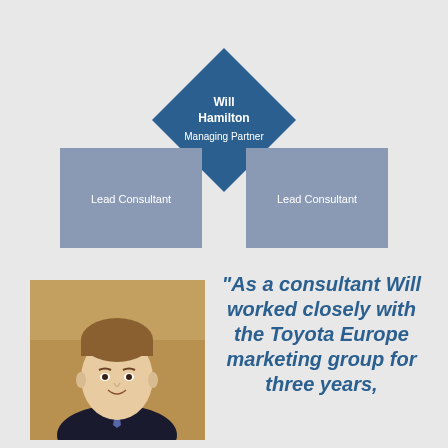[Figure (organizational-chart): Org chart with Will Hamilton as Managing Partner in a dark blue diamond shape at top center, with two gray square boxes below labeled Lead Consultant on the left and Lead Consultant on the right.]
[Figure (photo): Headshot photo of Will Hamilton, a young man in a dark suit and tie, smiling slightly.]
“As a consultant Will worked closely with the Toyota Europe marketing group for three years,